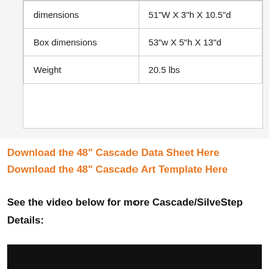| dimensions | 51"W X 3"h X 10.5"d |
| Box dimensions | 53"w X 5"h X 13"d |
| Weight | 20.5 lbs |
Download the 48" Cascade Data Sheet Here
Download the 48" Cascade Art Template Here
See the video below for more Cascade/SilveStep Details:
[Figure (screenshot): Dark video thumbnail strip at bottom of page]